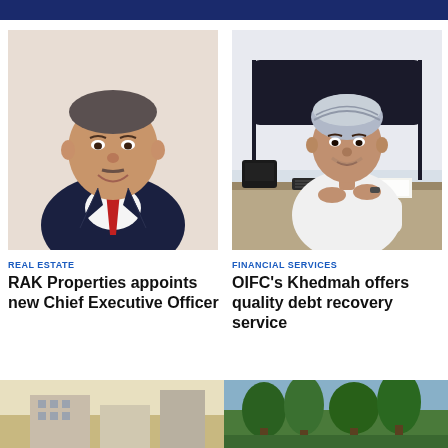[Figure (photo): Headshot of a senior businessman in a dark suit with red tie, smiling]
[Figure (photo): Man in traditional Omani white dishdasha and turban sitting at an office desk with phone and keyboard]
REAL ESTATE
RAK Properties appoints new Chief Executive Officer
FINANCIAL SERVICES
OIFC's Khedmah offers quality debt recovery service
[Figure (photo): Partial image at bottom left - appears to be a building or architectural photo]
[Figure (photo): Partial image at bottom right - appears to be a tropical or green outdoor scene]